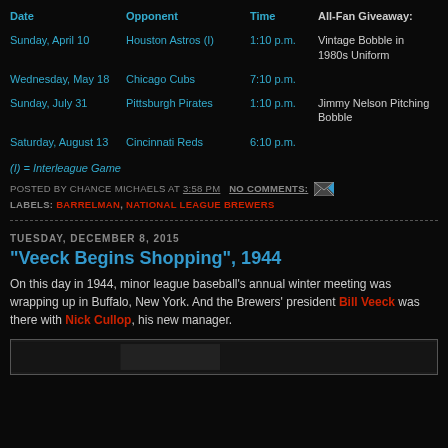| Date | Opponent | Time | All-Fan Giveaway: |
| --- | --- | --- | --- |
| Sunday, April 10 | Houston Astros (I) | 1:10 p.m. | Vintage Bobble in 1980s Uniform |
| Wednesday, May 18 | Chicago Cubs | 7:10 p.m. |  |
| Sunday, July 31 | Pittsburgh Pirates | 1:10 p.m. | Jimmy Nelson Pitching Bobble |
| Saturday, August 13 | Cincinnati Reds | 6:10 p.m. |  |
(I) = Interleague Game
POSTED BY CHANCE MICHAELS AT 3:58 PM   NO COMMENTS:
LABELS: BARRELMAN, NATIONAL LEAGUE BREWERS
TUESDAY, DECEMBER 8, 2015
"Veeck Begins Shopping", 1944
On this day in 1944, minor league baseball's annual winter meeting was wrapping up in Buffalo, New York. And the Brewers' president Bill Veeck was there with Nick Cullop, his new manager.
[Figure (photo): Partial image at bottom of page, dark background]